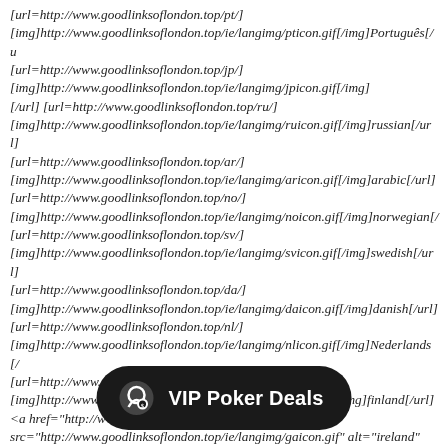[url=http://www.goodlinksoflondon.top/pt/] [img]http://www.goodlinksoflondon.top/ie/langimg/pticon.gif[/img]Português[/u [url=http://www.goodlinksoflondon.top/jp/] [img]http://www.goodlinksoflondon.top/ie/langimg/jpicon.gif[/img] [/url] [url=http://www.goodlinksoflondon.top/ru/] [img]http://www.goodlinksoflondon.top/ie/langimg/ruicon.gif[/img]russian[/url] [url=http://www.goodlinksoflondon.top/ar/] [img]http://www.goodlinksoflondon.top/ie/langimg/aricon.gif[/img]arabic[/url] [url=http://www.goodlinksoflondon.top/no/] [img]http://www.goodlinksoflondon.top/ie/langimg/noicon.gif[/img]norwegian[/ [url=http://www.goodlinksoflondon.top/sv/] [img]http://www.goodlinksoflondon.top/ie/langimg/svicon.gif[/img]swedish[/url] [url=http://www.goodlinksoflondon.top/da/] [img]http://www.goodlinksoflondon.top/ie/langimg/daicon.gif[/img]danish[/url] [url=http://www.goodlinksoflondon.top/nl/] [img]http://www.goodlinksoflondon.top/ie/langimg/nlicon.gif[/img]Nederlands[/ [url=http://www.goodlinksoflondon.top/fi/] [img]http://www.goodlinksoflondon.top/ie/langimg/fiicon.gif[/img]finland[/url] <a href="http://www.goodlinksoflondon.top/ie/"> <img src="http://www.goodlinksoflondon.top/ie/langimg/gaicon.gif" alt="ireland" title=" ireland " height="15" width="24"></a> [url=http://www.goodlinksoflondon.top/] [img]http://www.goodlinksoflondon.top/ie/langimg/icon.gif[/img]English[/url] [url=http://www.goodlinksoflondon.top/ie/index.php?main_page=Payment_Methods]íocaíocht | [/url] [url=http://www.goodlinksoflondon.top/main_page=shippinginfo]Shipping u00... [url=http://www.goodlinksoflondon.top/main_page=Payment_Methods]mórdhíola | [/url] [url=http://www.goodlinksoflondon.top/ie/index.php?
[Figure (other): Dark rounded pill-shaped popup bar with a chat/poker chip icon on the left and white bold text reading 'VIP Poker Deals' on a black background.]